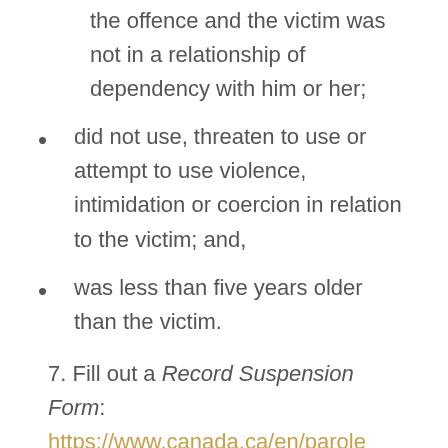the offence and the victim was not in a relationship of dependency with him or her;
did not use, threaten to use or attempt to use violence, intimidation or coercion in relation to the victim; and,
was less than five years older than the victim.
7. Fill out a Record Suspension Form: https://www.canada.ca/en/parole